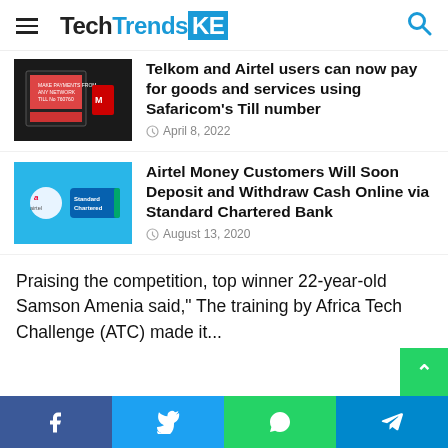TechTrendsKE
Telkom and Airtel users can now pay for goods and services using Safaricom's Till number
April 8, 2022
Airtel Money Customers Will Soon Deposit and Withdraw Cash Online via Standard Chartered Bank
August 13, 2020
Praising the competition, top winner 22-year-old Samson Amenia said," The training by Africa Tech Challenge (ATC) made it...